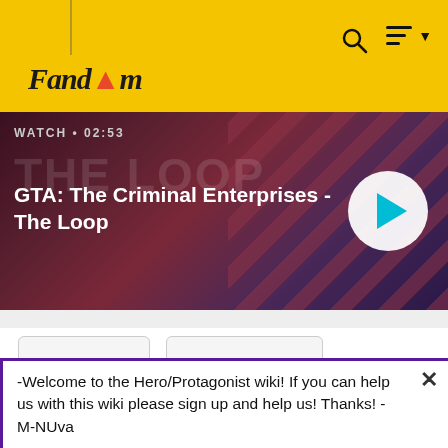Fandom
[Figure (screenshot): GTA: The Criminal Enterprises - The Loop video thumbnail with play button, showing WATCH • 02:53 label]
[Figure (screenshot): Two placeholder image cards with broken image icons]
FULL NAME
-Welcome to the Hero/Protagonist wiki! If you can help us with this wiki please sign up and help us! Thanks! -M-NUva